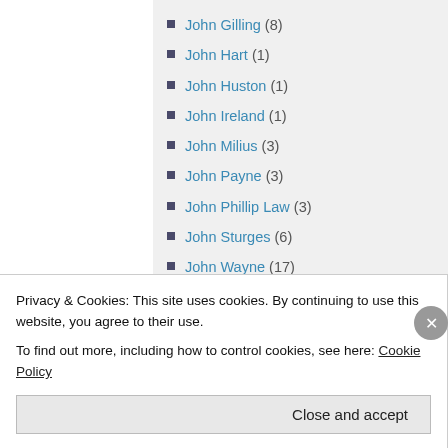John Gilling (8)
John Hart (1)
John Huston (1)
John Ireland (1)
John Milius (3)
John Payne (3)
John Phillip Law (3)
John Sturges (6)
John Wayne (17)
Johnny Weissmuller (8)
Joi Lansing (1)
Jonathan Demme
Privacy & Cookies: This site uses cookies. By continuing to use this website, you agree to their use.
To find out more, including how to control cookies, see here: Cookie Policy
Close and accept